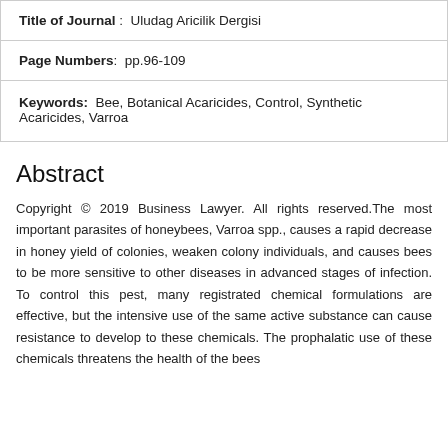| Title of Journal | Uludag Aricilik Dergisi |
| Page Numbers | pp.96-109 |
| Keywords | Bee, Botanical Acaricides, Control, Synthetic Acaricides, Varroa |
Abstract
Copyright © 2019 Business Lawyer. All rights reserved.The most important parasites of honeybees, Varroa spp., causes a rapid decrease in honey yield of colonies, weaken colony individuals, and causes bees to be more sensitive to other diseases in advanced stages of infection. To control this pest, many registrated chemical formulations are effective, but the intensive use of the same active substance can cause resistance to develop to these chemicals. The prophalatic use of these chemicals threatens the health of the bees